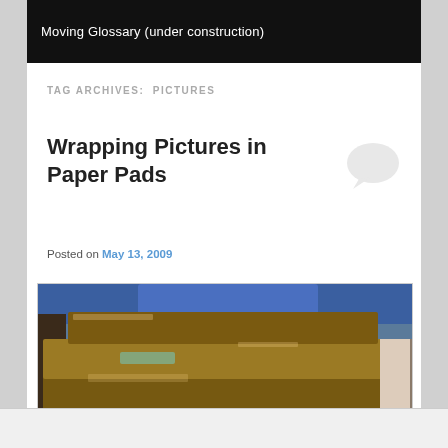Moving Glossary (under construction)
TAG ARCHIVES: PICTURES
Wrapping Pictures in Paper Pads
Posted on May 13, 2009
[Figure (photo): Photograph of framed pictures wrapped in brown paper pads, stacked inside a cardboard box with blue moving blankets in the background]
Follow ...